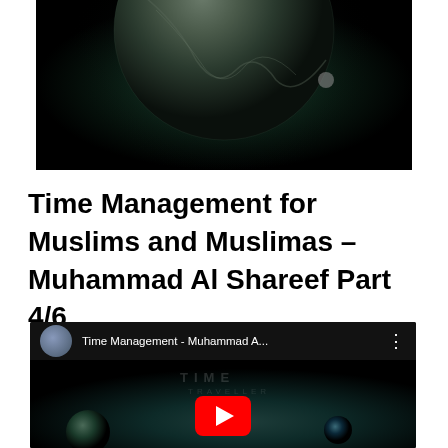[Figure (screenshot): Partial YouTube video thumbnail showing a planet in space on dark background, cropped at bottom]
Time Management for Muslims and Muslimas – Muhammad Al Shareef Part 4/6
[Figure (screenshot): YouTube video embed showing 'Time Management - Muhammad A...' with channel avatar, three-dot menu, play button on space-themed thumbnail with planets]